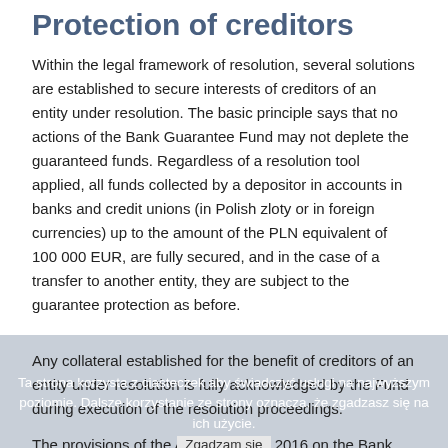Protection of creditors
Within the legal framework of resolution, several solutions are established to secure interests of creditors of an entity under resolution. The basic principle says that no actions of the Bank Guarantee Fund may not deplete the guaranteed funds. Regardless of a resolution tool applied, all funds collected by a depositor in accounts in banks and credit unions (in Polish zloty or in foreign currencies) up to the amount of the PLN equivalent of 100 000 EUR, are fully secured, and in the case of a transfer to another entity, they are subject to the guarantee protection as before.
Any collateral established for the benefit of creditors of an entity under resolution is fully acknowledged by the Fund during execution of the resolution proceedings.
The provisions of the Act of 10 June 2016 on the Bank Guarantee Fund, Deposit Guarantee Scheme and